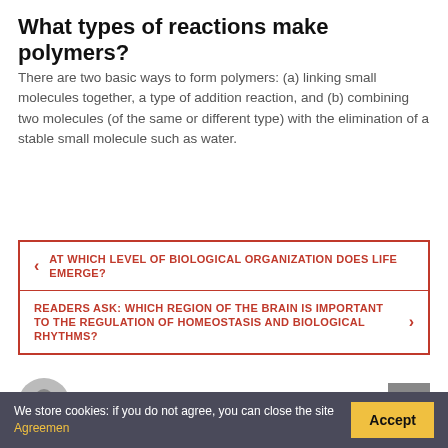What types of reactions make polymers?
There are two basic ways to form polymers: (a) linking small molecules together, a type of addition reaction, and (b) combining two molecules (of the same or different type) with the elimination of a stable small molecule such as water.
< AT WHICH LEVEL OF BIOLOGICAL ORGANIZATION DOES LIFE EMERGE?
READERS ASK: WHICH REGION OF THE BRAIN IS IMPORTANT TO THE REGULATION OF HOMEOSTASIS AND BIOLOGICAL RHYTHMS? >
Patricia Curtis
VIEW ALL POSTS BY PATRICIA CURTIS
We store cookies: if you do not agree, you can close the site Agreemen
Accept